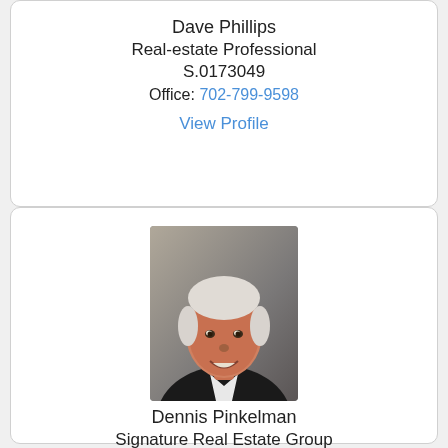Dave Phillips
Real-estate Professional
S.0173049
Office: 702-799-9598
View Profile
[Figure (photo): Headshot of Dennis Pinkelman, older man with white/grey hair, wearing a dark blazer and white shirt, smiling, grey background]
Dennis Pinkelman
Signature Real Estate Group
S.0170094.LLC
Office: 702-799-9598